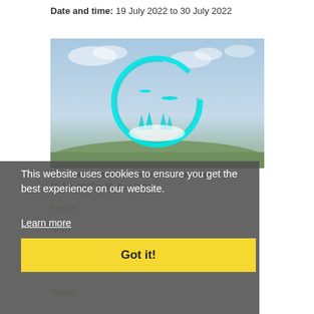Date and time: 19 July 2022 to 30 July 2022
[Figure (photo): Landscape photo of sky and hills with a glowing cyan circular logo overlay — the Droimin Creatives globe logo with cyan brushstroke circle and landscape silhouette inside]
Droimin Creatives Local Live Performances
19 July 2022 to 30 June 2022
Events
This website uses cookies to ensure you get the best experience on our website.
Learn more
News
Got it!
Projects
Videos